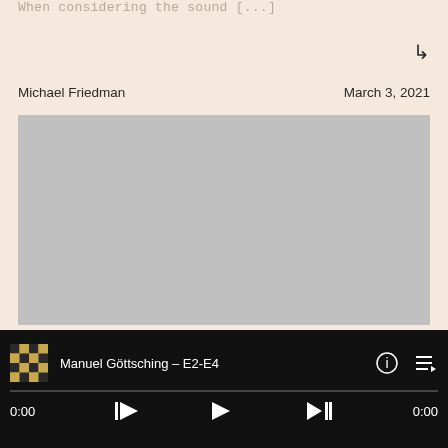When considering the sound [...]
↳
Michael Friedman
March 3, 2021
[Figure (photo): Gray image placeholder representing an embedded media or article image]
Manuel Göttsching – E2-E4
0:00 ... 0:00